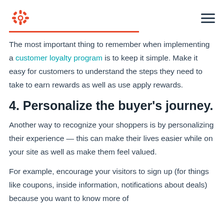HubSpot logo and hamburger menu
The most important thing to remember when implementing a customer loyalty program is to keep it simple. Make it easy for customers to understand the steps they need to take to earn rewards as well as use apply rewards.
4. Personalize the buyer's journey.
Another way to recognize your shoppers is by personalizing their experience — this can make their lives easier while on your site as well as make them feel valued.
For example, encourage your visitors to sign up (for things like coupons, inside information, notifications about deals) because you want to know more of...